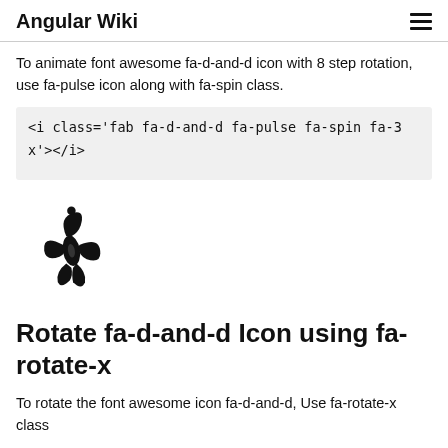Angular Wiki
To animate font awesome fa-d-and-d icon with 8 step rotation, use fa-pulse icon along with fa-spin class.
<i class='fab fa-d-and-d fa-pulse fa-spin fa-3x'></i>
[Figure (illustration): A decorative black font awesome fa-d-and-d icon rendered at 3x size, showing a dragons and dungeons style ornate symbol.]
Rotate fa-d-and-d Icon using fa-rotate-x
To rotate the font awesome icon fa-d-and-d, Use fa-rotate-x class
Where 'x' represents degree of rotation.